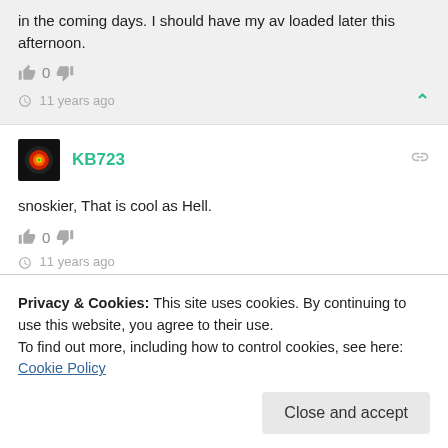in the coming days. I should have my av loaded later this afternoon.
0
11 years ago
KB723
snoskier, That is cool as Hell.
0
11 years ago
Privacy & Cookies: This site uses cookies. By continuing to use this website, you agree to their use.
To find out more, including how to control cookies, see here: Cookie Policy
Close and accept
everyone's emotions are on high alert.